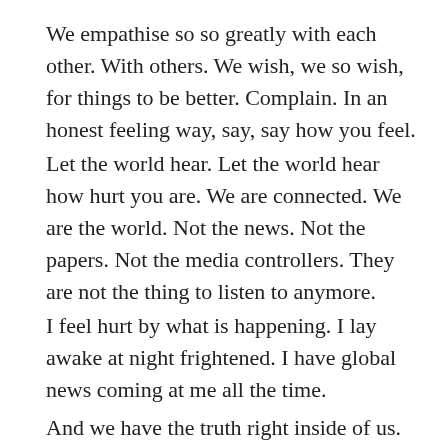We empathise so so greatly with each other. With others. We wish, we so wish, for things to be better. Complain. In an honest feeling way, say, say how you feel.
Let the world hear. Let the world hear how hurt you are. We are connected. We are the world. Not the news. Not the papers. Not the media controllers. They are not the thing to listen to anymore.
I feel hurt by what is happening. I lay awake at night frightened. I have global news coming at me all the time.
And we have the truth right inside of us. Right here in